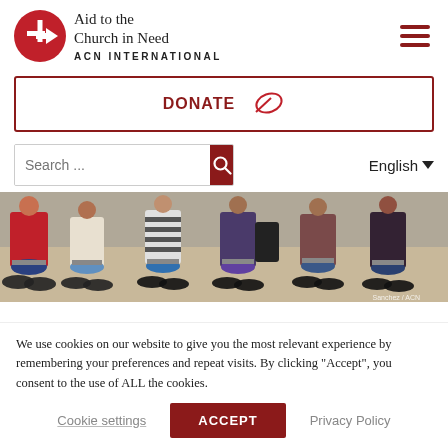[Figure (logo): Aid to the Church in Need ACN International logo with red circle containing cross and arrow symbol]
Aid to the
Church in Need
ACN INTERNATIONAL
[Figure (illustration): Hamburger menu icon with three dark red horizontal lines]
DONATE
[Figure (illustration): Donate icon - outline of a leaf/feather shape in dark red]
Search ...
English ▼
[Figure (photo): Group of young men sitting on bicycles, viewed from the waist down, outdoors]
We use cookies on our website to give you the most relevant experience by remembering your preferences and repeat visits. By clicking “Accept”, you consent to the use of ALL the cookies.
Cookie settings
ACCEPT
Privacy Policy